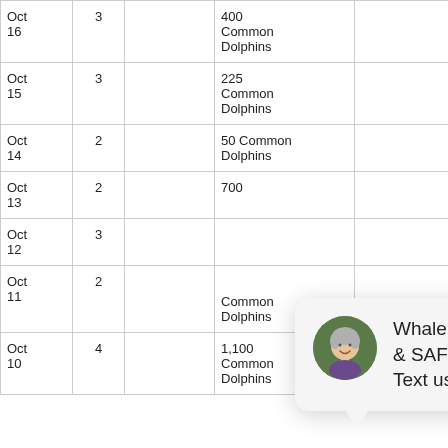| Date | Trips |  | Species/Count |  |
| --- | --- | --- | --- | --- |
| Oct 16 | 3 |  | 400 Common Dolphins |  |
| Oct 15 | 3 |  | 225 Common Dolphins |  |
| Oct 14 | 2 |  | 50 Common Dolphins |  |
| Oct 13 | 2 |  | 700 |  |
| Oct 12 | 3 |  |  |  |
| Oct 11 | 2 |  | Common Dolphins |  |
| Oct 10 | 4 |  | 1,100 Common Dolphins | 4 Pa... Whi... side... |
[Figure (screenshot): Chat popup with avatar photo of a smiling woman with short grey hair, close button, and message: 'Whale, hi there! We are OPEN & SAFE. Have a question? Text us.']